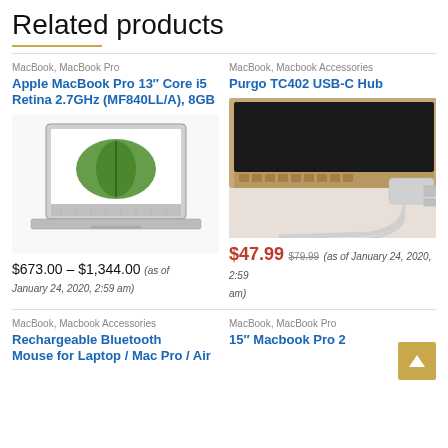Related products
MacBook, MacBook Pro
Apple MacBook Pro 13″ Core i5 Retina 2.7GHz (MF840LL/A), 8GB
[Figure (photo): Photo of Apple MacBook Pro 13 inch laptop open, showing green leaf on screen]
$673.00 – $1,344.00 (as of January 24, 2020, 2:59 am)
MacBook, Macbook Accessories
Purgo TC402 USB-C Hub
[Figure (photo): Photo of Purgo TC402 USB-C Hub plugged into gold MacBook, showing multiple USB-C ports and cables]
$47.99 $79.99 (as of January 24, 2020, 2:59 am)
MacBook, Macbook Accessories
Rechargeable Bluetooth Mouse for Laptop / Mac Pro / Air
MacBook, MacBook Pro
15″ Macbook Pro 2